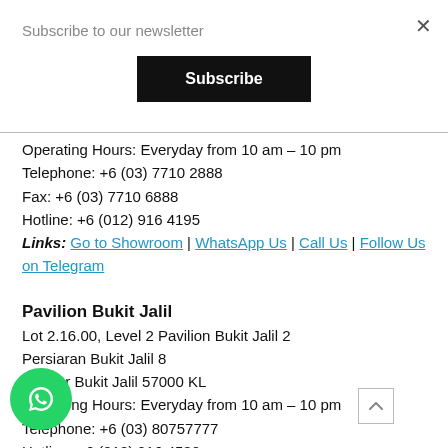Subscribe to our newsletter
Subscribe
Operating Hours: Everyday from 10 am - 10 pm
Telephone: +6 (03) 7710 2888
Fax: +6 (03) 7710 6888
Hotline: +6 (012) 916 4195
Links: Go to Showroom | WhatsApp Us | Call Us | Follow Us on Telegram
Pavilion Bukit Jalil
Lot 2.16.00, Level 2 Pavilion Bukit Jalil 2
Persiaran Bukit Jalil 8
Bandar Bukit Jalil 57000 KL
Operating Hours: Everyday from 10 am - 10 pm
Telephone: +6 (03) 80757777
Hotline: +6 (012) 916 4530